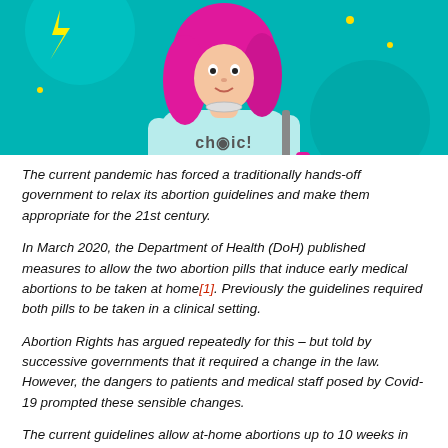[Figure (illustration): Colorful illustrated artwork on teal background showing a person with long pink/magenta hair wearing a light blue top, holding what appears to be a sign, in a graphic art style.]
The current pandemic has forced a traditionally hands-off government to relax its abortion guidelines and make them appropriate for the 21st century.
In March 2020, the Department of Health (DoH) published measures to allow the two abortion pills that induce early medical abortions to be taken at home[1]. Previously the guidelines required both pills to be taken in a clinical setting.
Abortion Rights has argued repeatedly for this – but told by successive governments that it required a change in the law. However, the dangers to patients and medical staff posed by Covid-19 prompted these sensible changes.
The current guidelines allow at-home abortions up to 10 weeks in England and Wales, up to 12 weeks in Scotland and while they